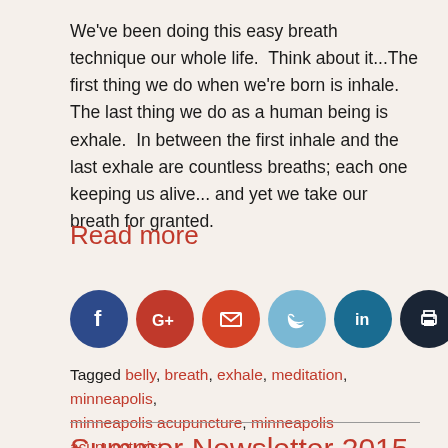We've been doing this easy breath technique our whole life.  Think about it...The first thing we do when we're born is inhale.  The last thing we do as a human being is exhale.  In between the first inhale and the last exhale are countless breaths; each one keeping us alive... and yet we take our breath for granted.
Read more
[Figure (other): Social media sharing icons: Facebook, Google+, Email, Twitter, LinkedIn, Print]
Tagged belly, breath, exhale, meditation, minneapolis, minneapolis acupuncture, minneapolis acupuncturist, minneapolis community acupuncture, minneapolis yoga, oxygen, pranayama, quiet the mind
Summer Newsletter 2015